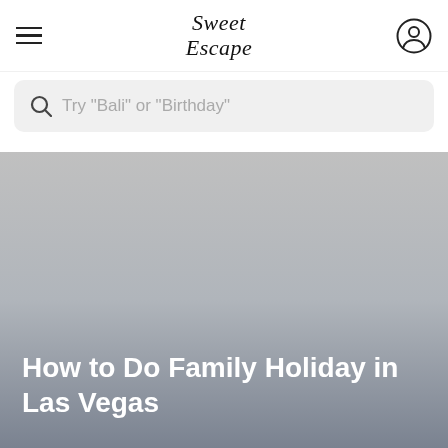Sweet Escape
Try "Bali" or "Birthday"
[Figure (photo): Gray placeholder hero image with gradient from light gray at top to darker blue-gray at bottom, serving as a background for a blog article header.]
How to Do Family Holiday in Las Vegas